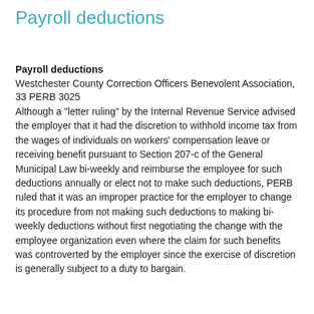Payroll deductions
Payroll deductions
Westchester County Correction Officers Benevolent Association, 33 PERB 3025
Although a "letter ruling" by the Internal Revenue Service advised the employer that it had the discretion to withhold income tax from the wages of individuals on workers' compensation leave or receiving benefit pursuant to Section 207-c of the General Municipal Law bi-weekly and reimburse the employee for such deductions annually or elect not to make such deductions, PERB ruled that it was an improper practice for the employer to change its procedure from not making such deductions to making bi-weekly deductions without first negotiating the change with the employee organization even where the claim for such benefits was controverted by the employer since the exercise of discretion is generally subject to a duty to bargain.